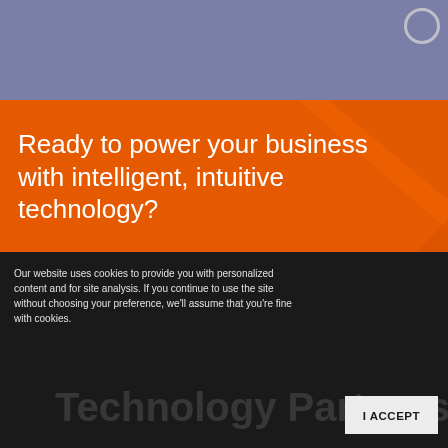[Figure (screenshot): Top purple/slate navigation bar area with circular close button in top right corner]
Ready to power your business with intelligent, intuitive technology?
SCHEDULE A VIDEO CONSULTATION
Our website uses cookies to provide you with personalized content and for site analysis. If you continue to use the site without choosing your preference, we'll assume that you're fine with cookies.
I ACCEPT